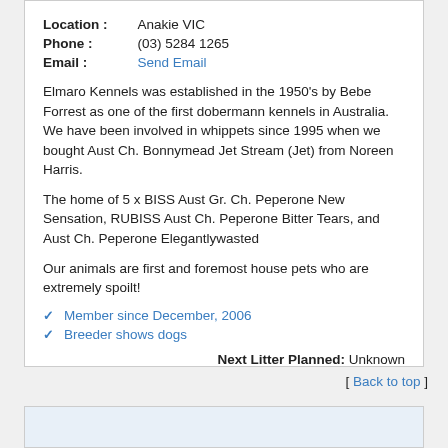| Location : | Anakie VIC |
| Phone : | (03) 5284 1265 |
| Email : | Send Email |
Elmaro Kennels was established in the 1950's by Bebe Forrest as one of the first dobermann kennels in Australia. We have been involved in whippets since 1995 when we bought Aust Ch. Bonnymead Jet Stream (Jet) from Noreen Harris.
The home of 5 x BISS Aust Gr. Ch. Peperone New Sensation, RUBISS Aust Ch. Peperone Bitter Tears, and Aust Ch. Peperone Elegantlywasted
Our animals are first and foremost house pets who are extremely spoilt!
Member since December, 2006
Breeder shows dogs
Next Litter Planned: Unknown
[ Back to top ]